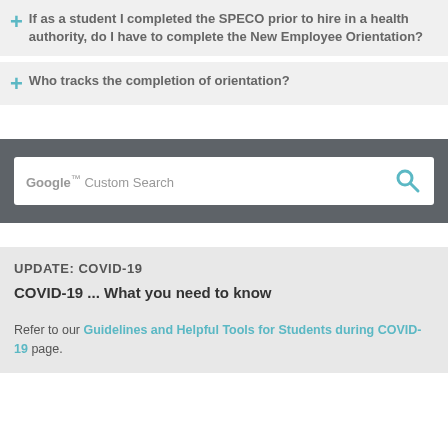If as a student I completed the SPECO prior to hire in a health authority, do I have to complete the New Employee Orientation?
Who tracks the completion of orientation?
[Figure (screenshot): Google Custom Search bar with teal search icon on dark grey background]
UPDATE: COVID-19
COVID-19 ... What you need to know
Refer to our Guidelines and Helpful Tools for Students during COVID-19 page.